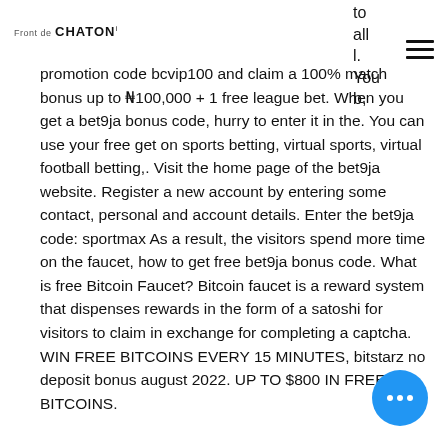Front de CHATON
to all
l. You
b,
promotion code bcvip100 and claim a 100% match bonus up to ₦100,000 + 1 free league bet. When you get a bet9ja bonus code, hurry to enter it in the. You can use your free get on sports betting, virtual sports, virtual football betting,. Visit the home page of the bet9ja website. Register a new account by entering some contact, personal and account details. Enter the bet9ja code: sportmax As a result, the visitors spend more time on the faucet, how to get free bet9ja bonus code. What is free Bitcoin Faucet? Bitcoin faucet is a reward system that dispenses rewards in the form of a satoshi for visitors to claim in exchange for completing a captcha. WIN FREE BITCOINS EVERY 15 MINUTES, bitstarz no deposit bonus august 2022. UP TO $800 IN FREE BITCOINS.